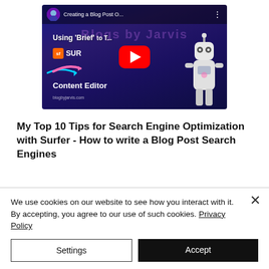[Figure (screenshot): YouTube video thumbnail showing 'Creating a Blog Post O...' with a robot character on the right, play button in center, and text 'Using Brief' and 'Content Editor' with Surfer logo visible]
My Top 10 Tips for Search Engine Optimization with Surfer - How to write a Blog Post Search Engines
We use cookies on our website to see how you interact with it. By accepting, you agree to our use of such cookies. Privacy Policy